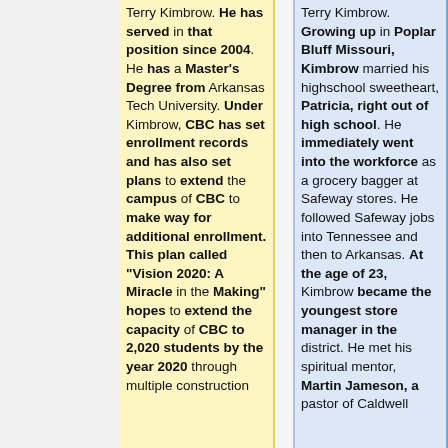Terry Kimbrow. He has served in that position since 2004. He has a Master's Degree from Arkansas Tech University. Under Kimbrow, CBC has set enrollment records and has also set plans to extend the campus of CBC to make way for additional enrollment. This plan called "Vision 2020: A Miracle in the Making" hopes to extend the capacity of CBC to 2,020 students by the year 2020 through multiple construction
Terry Kimbrow. Growing up in Poplar Bluff Missouri, Kimbrow married his highschool sweetheart, Patricia, right out of high school. He immediately went into the workforce as a grocery bagger at Safeway stores. He followed Safeway jobs into Tennessee and then to Arkansas. At the age of 23, Kimbrow became the youngest store manager in the district. He met his spiritual mentor, Martin Jameson, a pastor of Caldwell